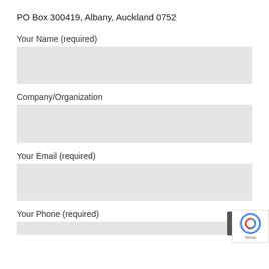PO Box 300419, Albany, Auckland 0752
Your Name (required)
[Figure (other): Text input field for Your Name (empty, light gray background)]
Company/Organization
[Figure (other): Text input field for Company/Organization (empty, light gray background)]
Your Email (required)
[Figure (other): Text input field for Your Email (empty, light gray background)]
Your Phone (required)
[Figure (other): Partial text input field for Your Phone (partially visible at bottom, light gray background)]